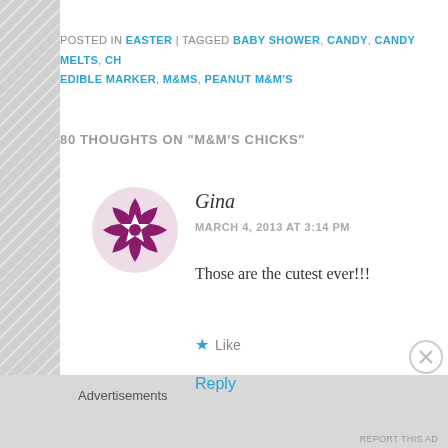POSTED IN EASTER | TAGGED BABY SHOWER, CANDY, CANDY MELTS, CH... EDIBLE MARKER, M&MS, PEANUT M&M'S
80 THOUGHTS ON "M&M'S CHICKS"
[Figure (illustration): Purple decorative geometric star/flower icon used as commenter avatar for Gina]
Gina
MARCH 4, 2013 AT 3:14 PM
Those are the cutest ever!!!
★ Like
Reply
Advertisements